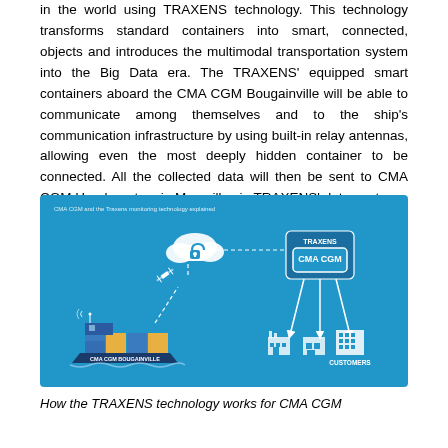in the world using TRAXENS technology. This technology transforms standard containers into smart, connected, objects and introduces the multimodal transportation system into the Big Data era. The TRAXENS' equipped smart containers aboard the CMA CGM Bougainville will be able to communicate among themselves and to the ship's communication infrastructure by using built-in relay antennas, allowing even the most deeply hidden container to be connected. All the collected data will then be sent to CMA CGM Headquarters in Marseille via TRAXENS' data centers.
[Figure (infographic): Diagram showing how the TRAXENS technology works for CMA CGM. Shows a ship labeled 'CMA CGM BOUGAINVILLE' with containers, connected via dashed lines to a satellite, which connects to a cloud with a lock icon, which connects to a box labeled 'TRAXENS' containing 'CMA CGM'. From CMA CGM, arrows point down to factory/warehouse icons and a building labeled 'CUSTOMERS'.]
How the TRAXENS technology works for CMA CGM